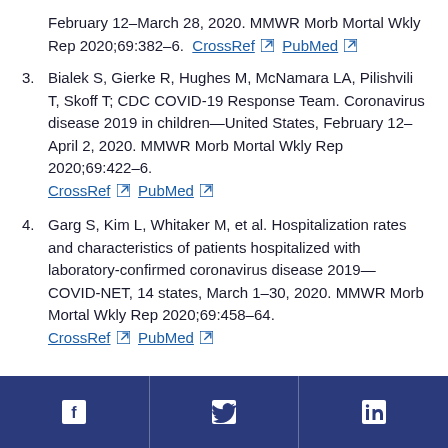February 12–March 28, 2020. MMWR Morb Mortal Wkly Rep 2020;69:382–6. CrossRef PubMed
3. Bialek S, Gierke R, Hughes M, McNamara LA, Pilishvili T, Skoff T; CDC COVID-19 Response Team. Coronavirus disease 2019 in children—United States, February 12–April 2, 2020. MMWR Morb Mortal Wkly Rep 2020;69:422–6. CrossRef PubMed
4. Garg S, Kim L, Whitaker M, et al. Hospitalization rates and characteristics of patients hospitalized with laboratory-confirmed coronavirus disease 2019—COVID-NET, 14 states, March 1–30, 2020. MMWR Morb Mortal Wkly Rep 2020;69:458–64. CrossRef PubMed
Social media links: Facebook, Twitter, LinkedIn